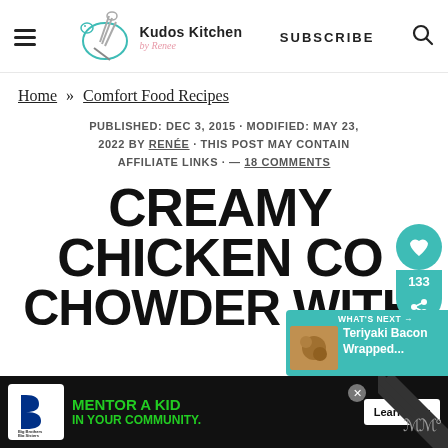Kudos Kitchen by Renee — SUBSCRIBE
Home » Comfort Food Recipes
PUBLISHED: DEC 3, 2015 · MODIFIED: MAY 23, 2022 BY RENÉE · THIS POST MAY CONTAIN AFFILIATE LINKS · — 18 COMMENTS
CREAMY CHICKEN CHOWDER WITH
[Figure (infographic): Circular teal save/heart button with share button below showing count 133]
[Figure (infographic): What's Next popup showing Teriyaki Bacon Wrapped... recipe thumbnail on teal background]
[Figure (infographic): Big Brothers Big Sisters ad banner: MENTOR A KID IN YOUR COMMUNITY. Learn How button]